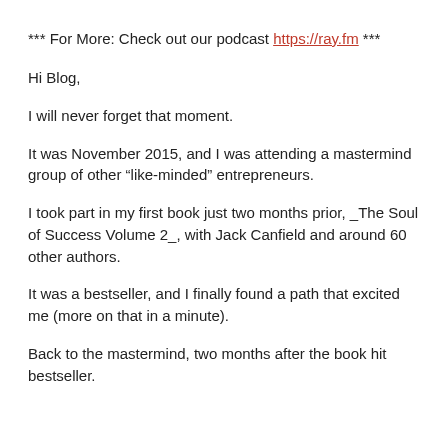*** For More: Check out our podcast https://ray.fm ***
Hi Blog,
I will never forget that moment.
It was November 2015, and I was attending a mastermind group of other “like-minded” entrepreneurs.
I took part in my first book just two months prior, _The Soul of Success Volume 2_, with Jack Canfield and around 60 other authors.
It was a bestseller, and I finally found a path that excited me (more on that in a minute).
Back to the mastermind, two months after the book hit bestseller.